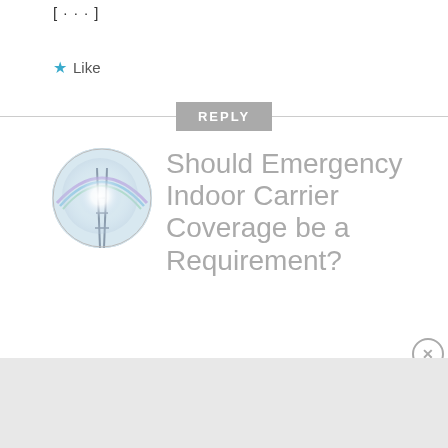[...]
★ Like
REPLY
[Figure (photo): Circular avatar image showing a bright light flare through what appears to be a tower or antenna with a rainbow arc, against a light blue sky background.]
Should Emergency Indoor Carrier Coverage be a Requirement?
Advertisements
REPORT THIS AD